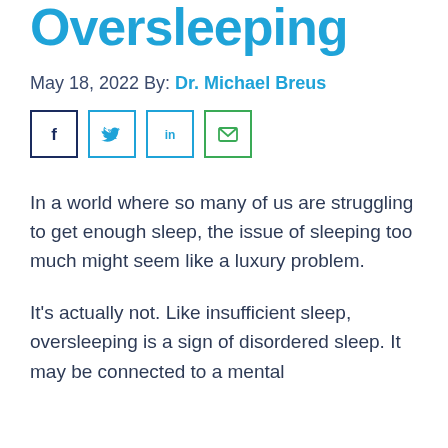Oversleeping
May 18, 2022 By: Dr. Michael Breus
[Figure (infographic): Social sharing buttons: Facebook, Twitter, LinkedIn, Email]
In a world where so many of us are struggling to get enough sleep, the issue of sleeping too much might seem like a luxury problem.
It's actually not. Like insufficient sleep, oversleeping is a sign of disordered sleep. It may be connected to a mental